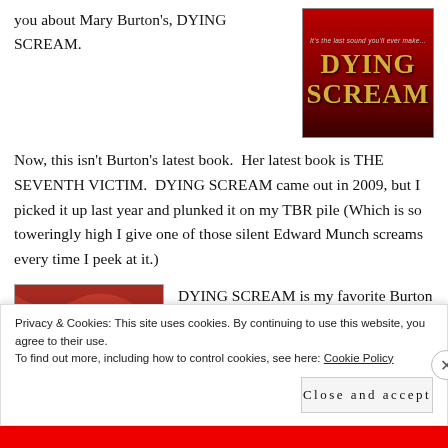you about Mary Burton's, DYING SCREAM.
[Figure (photo): Book cover of 'Dying Scream' by Mary Burton — dark red background with gold serif title text and tagline 'It's the last sound you'll ever make...']
Now, this isn't Burton's latest book. Her latest book is THE SEVENTH VICTIM. DYING SCREAM came out in 2009, but I picked it up last year and plunked it on my TBR pile (Which is so toweringly high I give one of those silent Edward Munch screams every time I peek at it.)
[Figure (photo): Abstract swirling red and gold painting reminiscent of Edvard Munch's The Scream landscape background]
DYING SCREAM is my favorite Burton novel to date. This book
Privacy & Cookies: This site uses cookies. By continuing to use this website, you agree to their use.
To find out more, including how to control cookies, see here: Cookie Policy
Close and accept